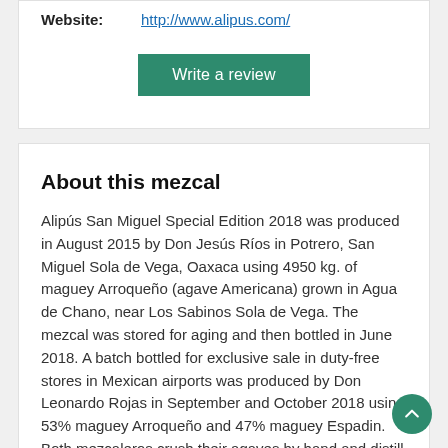Website: http://www.alipus.com/
Write a review
About this mezcal
Alipús San Miguel Special Edition 2018 was produced in August 2015 by Don Jesús Ríos in Potrero, San Miguel Sola de Vega, Oaxaca using 4950 kg. of maguey Arroqueño (agave Americana) grown in Agua de Chano, near Los Sabinos Sola de Vega. The mezcal was stored for aging and then bottled in June 2018. A batch bottled for exclusive sale in duty-free stores in Mexican airports was produced by Don Leonardo Rojas in September and October 2018 using 53% maguey Arroqueño and 47% maguey Espadin. Both mezcaleros crush their agaves by hand and distill in clay pots in Sola de Vega.
Known batch information: